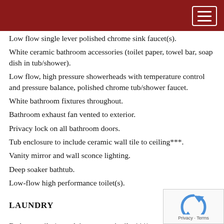Low flow single lever polished chrome sink faucet(s).
White ceramic bathroom accessories (toilet paper, towel bar, soap dish in tub/shower).
Low flow, high pressure showerheads with temperature control and pressure balance, polished chrome tub/shower faucet.
White bathroom fixtures throughout.
Bathroom exhaust fan vented to exterior.
Privacy lock on all bathroom doors.
Tub enclosure to include ceramic wall tile to ceiling***.
Vanity mirror and wall sconce lighting.
Deep soaker bathtub.
Low-flow high performance toilet(s).
LAUNDRY
Bathroom tile (porcelain or ceramic tiles***), to continue